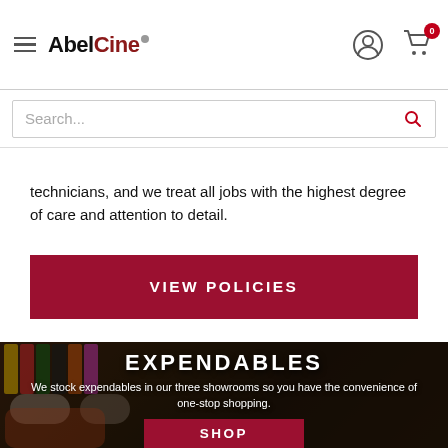AbelCine
technicians, and we treat all jobs with the highest degree of care and attention to detail.
VIEW POLICIES
[Figure (photo): Photo of film production expendables: rolls of colored tape, a film clapperboard, and other production supplies on shelves]
EXPENDABLES
We stock expendables in our three showrooms so you have the convenience of one-stop shopping.
SHOP